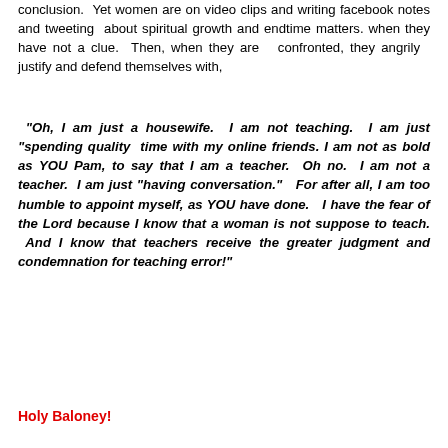conclusion. Yet women are on video clips and writing facebook notes and tweeting about spiritual growth and endtime matters. when they have not a clue. Then, when they are confronted, they angrily justify and defend themselves with,
“Oh, I am just a housewife. I am not teaching. I am just “spending quality time with my online friends. I am not as bold as YOU Pam, to say that I am a teacher. Oh no. I am not a teacher. I am just “having conversation.” For after all, I am too humble to appoint myself, as YOU have done. I have the fear of the Lord because I know that a woman is not suppose to teach. And I know that teachers receive the greater judgment and condemnation for teaching error!”
Holy Baloney!